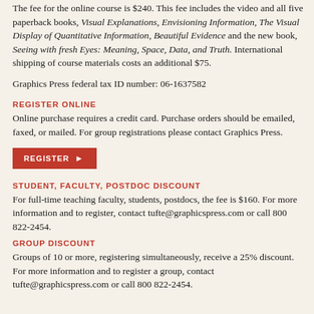The fee for the online course is $240. This fee includes the video and all five paperback books, Visual Explanations, Envisioning Information, The Visual Display of Quantitative Information, Beautiful Evidence and the new book, Seeing with fresh Eyes: Meaning, Space, Data, and Truth. International shipping of course materials costs an additional $75.
Graphics Press federal tax ID number: 06-1637582
REGISTER ONLINE
Online purchase requires a credit card. Purchase orders should be emailed, faxed, or mailed. For group registrations please contact Graphics Press.
[Figure (other): Red REGISTER button with right-pointing arrow]
STUDENT, FACULTY, POSTDOC DISCOUNT
For full-time teaching faculty, students, postdocs, the fee is $160. For more information and to register, contact tufte@graphicspress.com or call 800 822-2454.
GROUP DISCOUNT
Groups of 10 or more, registering simultaneously, receive a 25% discount. For more information and to register a group, contact tufte@graphicspress.com or call 800 822-2454.